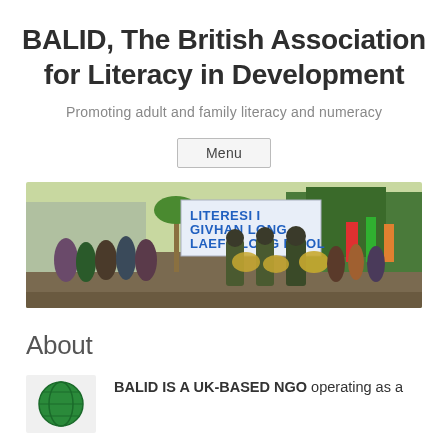BALID, The British Association for Literacy in Development
Promoting adult and family literacy and numeracy
Menu
[Figure (photo): Outdoor parade/march scene with people carrying a banner reading 'LITERESI I GIVHAN LONG LAEF BLONG PIPOL', with military band members playing brass instruments, trees and buildings in background.]
About
[Figure (logo): Green circular globe/world logo for BALID]
BALID IS A UK-BASED NGO operating as a